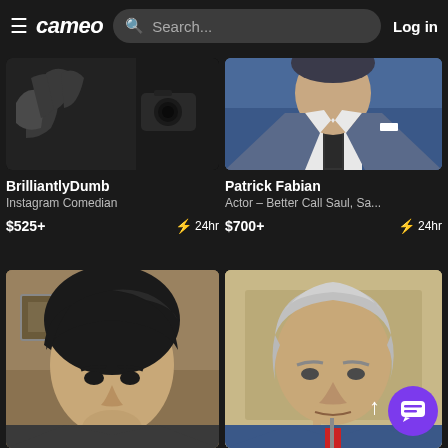cameo | Search... | Log in
[Figure (photo): BrilliantlyDumb creator photo - dark background with hand and camera visible]
BrilliantlyDumb
Instagram Comedian
$525+   ⚡ 24hr
[Figure (photo): Patrick Fabian headshot - man in blue suit with dark tie]
Patrick Fabian
Actor – Better Call Saul, Sa...
$700+   ⚡ 24hr
[Figure (photo): Young Asian person with dark hair making expression - bottom left card]
[Figure (photo): Older man with grey hair in blue suit at microphone - bottom right card]